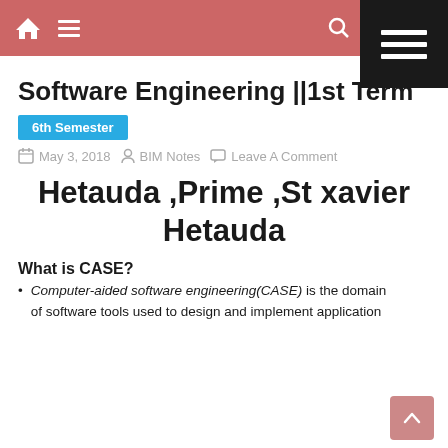Software Engineering ||1st Term — website navigation header with home and menu icons
Software Engineering ||1st Term
6th Semester
May 3, 2018   BIM Notes   Leave A Comment
Hetauda ,Prime ,St xavier Hetauda
What is CASE?
Computer-aided software engineering(CASE) is the domain of software tools used to design and implement application
of software tools used to design and implement application